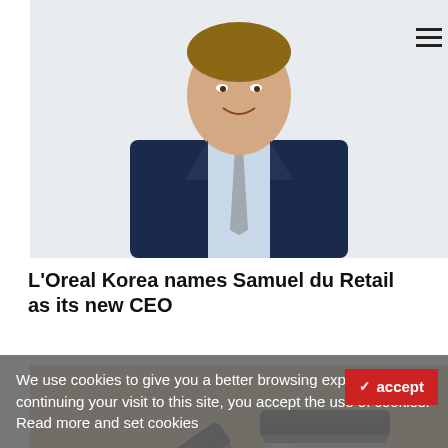[Figure (photo): Professional headshot of a man in a dark navy suit and light blue shirt with a grey tie, smiling, against a white background]
L'Oreal Korea names Samuel du Retail as its new CEO
[Figure (photo): Two glass cosmetic/cream jars with black lids placed on a beige/tan sandy background, one upright and one tilted]
We use cookies to give you a better browsing experience. By continuing your visit to this site, you accept the use of cookies. Read more and set cookies